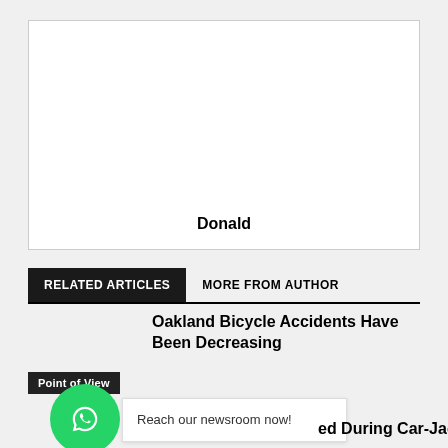[Figure (other): Advertisement box with white background and border, showing the name 'Donald' at the bottom center]
RELATED ARTICLES   MORE FROM AUTHOR
Oakland Bicycle Accidents Have Been Decreasing
Point of View
[Figure (logo): WhatsApp green circular button with phone/chat icon]
Reach our newsroom now!
ed During Car-Jacking